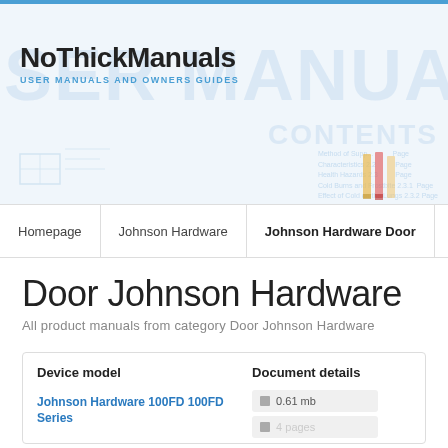NoThickManuals — USER MANUALS AND OWNERS GUIDES
[Figure (screenshot): NoThickManuals website header banner with watermark text USER MANUAL and CONTENTS, blueprint drawings, pencils, and logo area]
Homepage / Johnson Hardware / Johnson Hardware Door
Door Johnson Hardware
All product manuals from category Door Johnson Hardware
| Device model | Document details |
| --- | --- |
| Johnson Hardware 100FD 100FD Series | 0.61 mb |